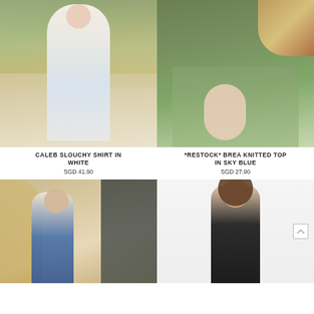[Figure (photo): Woman in white slouchy shirt and light blue flared jeans standing outdoors on a road]
[Figure (photo): Partial photo showing person wearing knitted top in sky blue, outdoors on grass]
CALEB SLOUCHY SHIRT IN WHITE
SGD 41.90
*RESTOCK* BREA KNITTED TOP IN SKY BLUE
SGD 27.90
[Figure (photo): Woman in denim overalls and cream top indoors with warm lighting]
[Figure (photo): Woman in black crop top standing against white background]